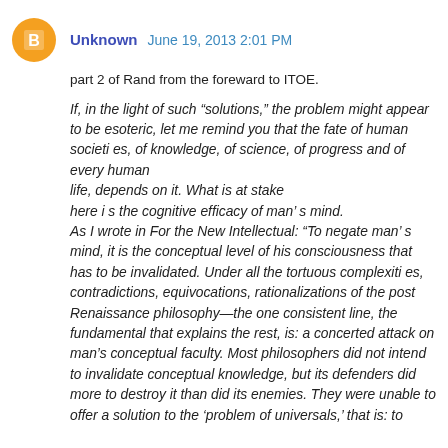Unknown  June 19, 2013 2:01 PM
part 2 of Rand from the foreward to ITOE.
If, in the light of such “solutions,” the problem might appear to be esoteric, let me remind you that the fate of human societi es, of knowledge, of science, of progress and of every human life, depends on it. What is at stake here i s the cognitive efficacy of man’ s mind. As I wrote in For the New Intellectual: “To negate man’ s mind, it is the conceptual level of his consciousness that has to be invalidated. Under all the tortuous complexiti es, contradictions, equivocations, rationalizations of the post Renaissance philosophy—the one consistent line, the fundamental that explains the rest, is: a concerted attack on man’s conceptual faculty. Most philosophers did not intend to invalidate conceptual knowledge, but its defenders did more to destroy it than did its enemies. They were unable to offer a solution to the ‘problem of universals,’ that is: to